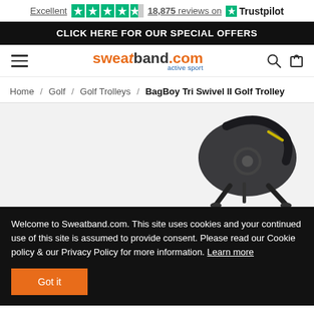[Figure (screenshot): Trustpilot rating bar showing Excellent rating with 4.5 green stars and 18,875 reviews on Trustpilot]
CLICK HERE FOR OUR SPECIAL OFFERS
[Figure (logo): Sweatband.com Active Sport logo with hamburger menu, search icon, and cart icon]
Home / Golf / Golf Trolleys / BagBoy Tri Swivel II Golf Trolley
[Figure (photo): BagBoy Tri Swivel II Golf Trolley product photo on light grey background]
Welcome to Sweatband.com. This site uses cookies and your continued use of this site is assumed to provide consent. Please read our Cookie policy & our Privacy Policy for more information. Learn more
Got it